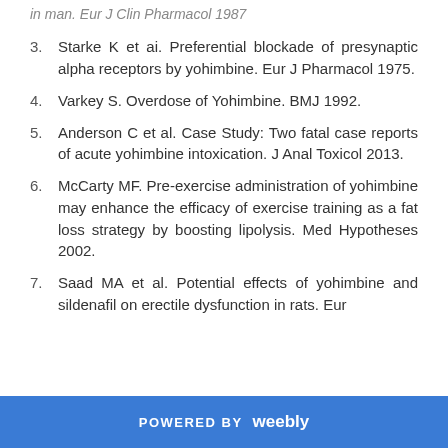in man. Eur J Clin Pharmacol 1987
3. Starke K et ai. Preferential blockade of presynaptic alpha receptors by yohimbine. Eur J Pharmacol 1975.
4. Varkey S. Overdose of Yohimbine. BMJ 1992.
5. Anderson C et al. Case Study: Two fatal case reports of acute yohimbine intoxication. J Anal Toxicol 2013.
6. McCarty MF. Pre-exercise administration of yohimbine may enhance the efficacy of exercise training as a fat loss strategy by boosting lipolysis. Med Hypotheses 2002.
7. Saad MA et al. Potential effects of yohimbine and sildenafil on erectile dysfunction in rats. Eur
POWERED BY weebly